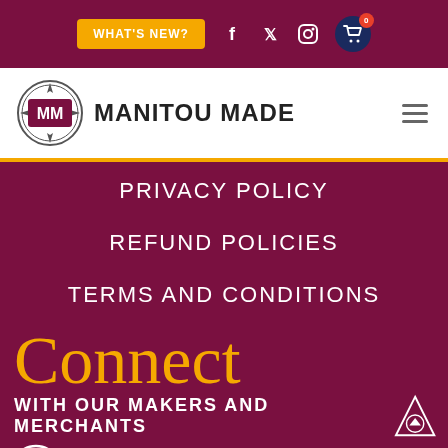WHAT'S NEW? [navigation bar with social icons and cart]
[Figure (logo): Manitou Made logo with MM badge and site name MANITOU MADE]
PRIVACY POLICY
REFUND POLICIES
TERMS AND CONDITIONS
Connect
WITH OUR MAKERS AND MERCHANTS